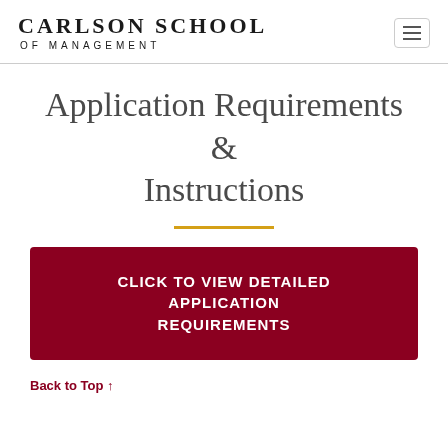Carlson School of Management
Application Requirements & Instructions
CLICK TO VIEW DETAILED APPLICATION REQUIREMENTS
Back to Top ↑